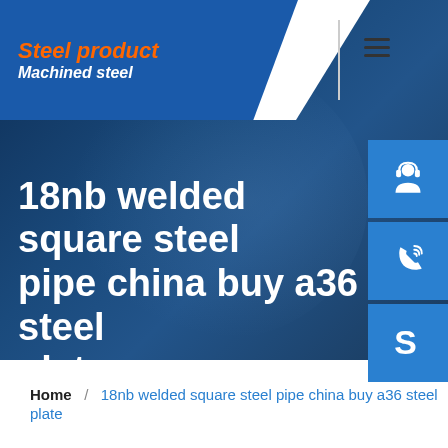Steel product / Machined steel
18nb welded square steel pipe china buy a36 steel plate
Home / 18nb welded square steel pipe china buy a36 steel plate